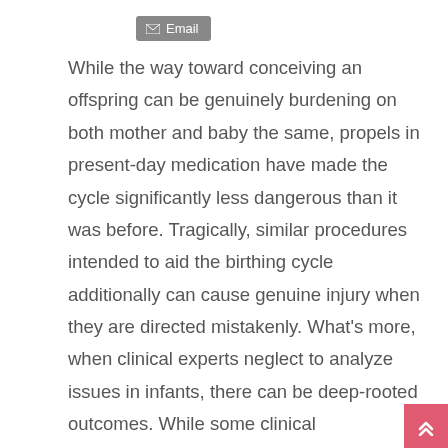Email
While the way toward conceiving an offspring can be genuinely burdening on both mother and baby the same, propels in present-day medication have made the cycle significantly less dangerous than it was before. Tragically, similar procedures intended to aid the birthing cycle additionally can cause genuine injury when they are directed mistakenly. What's more, when clinical experts neglect to analyze issues in infants, there can be deep-rooted outcomes. While some clinical complexities are unavoidable, those brought about by carelessness or ineptitude are unpardonable and casualties ought to be made up for their damages and misfortunes. Since clinical carelessness is now and